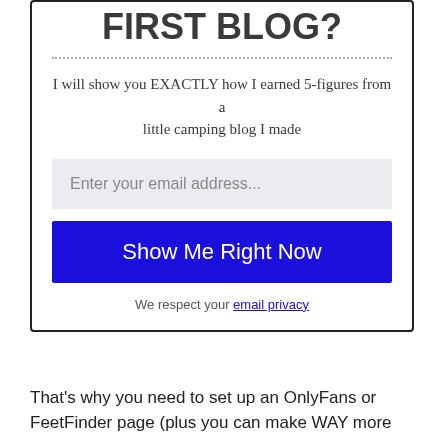FIRST BLOG?
I will show you EXACTLY how I earned 5-figures from a little camping blog I made
Enter your email address...
Show Me Right Now
We respect your email privacy
That's why you need to set up an OnlyFans or FeetFinder page (plus you can make WAY more